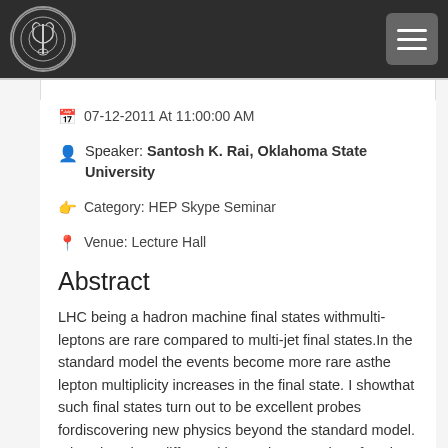[Figure (logo): University logo — circular emblem with decorative motif on dark navbar]
07-12-2011 At 11:00:00 AM
Speaker: Santosh K. Rai, Oklahoma State University
Category: HEP Skype Seminar
Venue: Lecture Hall
Abstract
LHC being a hadron machine final states withmulti-leptons are rare compared to multi-jet final states.In the standard model the events become more rare asthe lepton multiplicity increases in the final state. I showthat such final states turn out to be excellent probes fordiscovering new physics beyond the standard model. Ialso show how different kinematic properties of such leptonicfinal states can help in